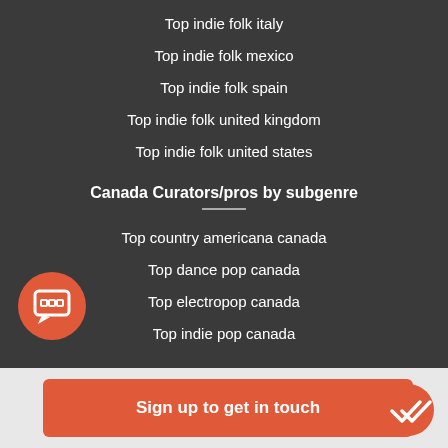Top indie folk italy
Top indie folk mexico
Top indie folk spain
Top indie folk united kingdom
Top indie folk united states
Canada Curators/pros by subgenre
Top country americana canada
Top dance pop canada
Top electropop canada
Top indie pop canada
Sign up to get in touch